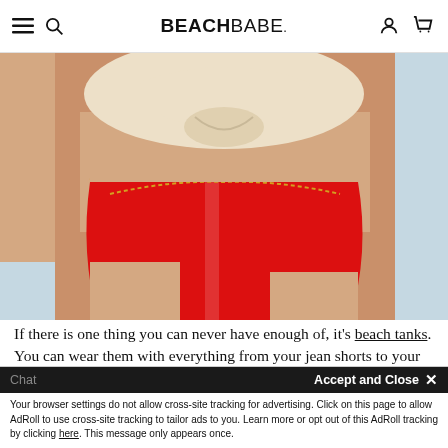BEACHBABE. navigation bar with hamburger menu, search, account and cart icons
[Figure (photo): Close-up photo of a model wearing a red high-waist bikini bottom with a gold chain detail and a tied cream/white top, against a light blue-grey background.]
If there is one thing you can never have enough of, it's beach tanks. You can wear them with everything from your jean shorts to your yoga pants; or with a shirt...
Your browser settings do not allow cross-site tracking for advertising. Click on this page to allow AdRoll to use cross-site tracking to tailor ads to you. Learn more or opt out of this AdRoll tracking by clicking here. This message only appears once.